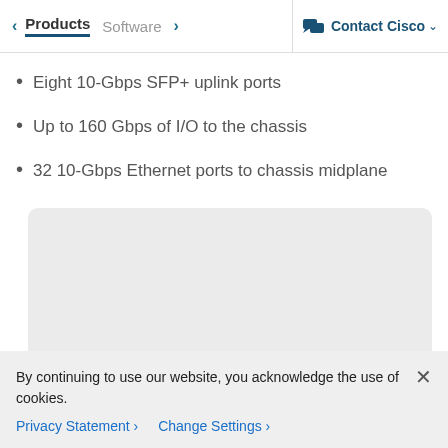< Products  Software  >  Contact Cisco
Eight 10-Gbps SFP+ uplink ports
Up to 160 Gbps of I/O to the chassis
32 10-Gbps Ethernet ports to chassis midplane
[Figure (other): Gray placeholder box for an image or diagram]
By continuing to use our website, you acknowledge the use of cookies.
Privacy Statement >   Change Settings >